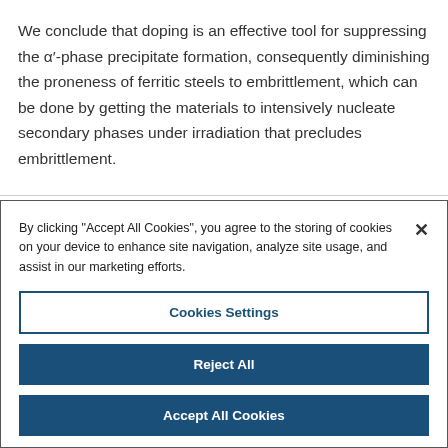We conclude that doping is an effective tool for suppressing the α′-phase precipitate formation, consequently diminishing the proneness of ferritic steels to embrittlement, which can be done by getting the materials to intensively nucleate secondary phases under irradiation that precludes embrittlement.
[Figure (screenshot): Cookie consent dialog overlay with 'Cookies Settings', 'Reject All', and 'Accept All Cookies' buttons, and a close (×) button.]